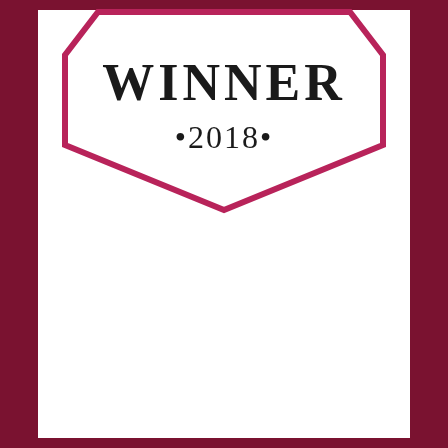[Figure (logo): A shield/badge shaped logo outline in dark pink/magenta color with the text 'WINNER' at the top in large serif letters and '•2018•' below in smaller serif letters. The shield has a pointed bottom forming a chevron/diamond shape.]